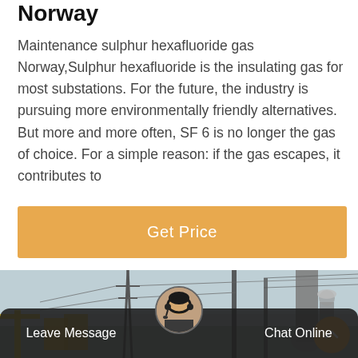Norway
Maintenance sulphur hexafluoride gas Norway,Sulphur hexafluoride is the insulating gas for most substations. For the future, the industry is pursuing more environmentally friendly alternatives. But more and more often, SF 6 is no longer the gas of choice. For a simple reason: if the gas escapes, it contributes to
[Figure (other): Orange 'Get Price' button]
[Figure (photo): Photo of an electrical substation with cranes, transmission towers, and equipment]
[Figure (other): Bottom bar with Leave Message and Chat Online buttons, and customer service agent avatar]